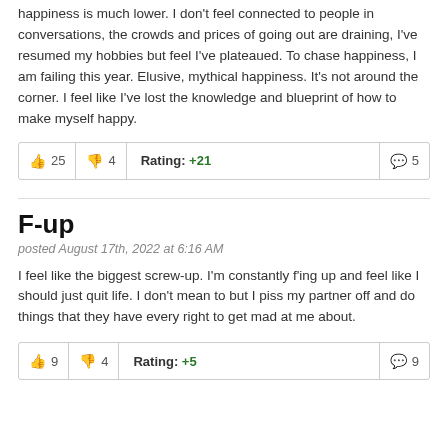happiness is much lower. I don't feel connected to people in conversations, the crowds and prices of going out are draining, I've resumed my hobbies but feel I've plateaued. To chase happiness, I am failing this year. Elusive, mythical happiness. It's not around the corner. I feel like I've lost the knowledge and blueprint of how to make myself happy.
| 👍 25 | 👎 4 | Rating: +21 | 💬 5 |
F-up
posted August 17th, 2022 at 6:16 AM
I feel like the biggest screw-up. I'm constantly f'ing up and feel like I should just quit life. I don't mean to but I piss my partner off and do things that they have every right to get mad at me about.
| 👍 9 | 👎 4 | Rating: +5 | 💬 9 |